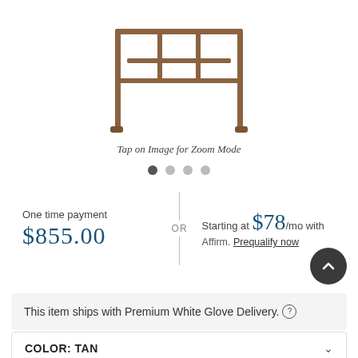[Figure (photo): Product image of a wooden furniture piece (appears to be a table or bench frame) shown from above on a white background]
Tap on Image for Zoom Mode
One time payment $855.00 OR Starting at $78/mo with Affirm. Prequalify now
This item ships with Premium White Glove Delivery.
COLOR: TAN